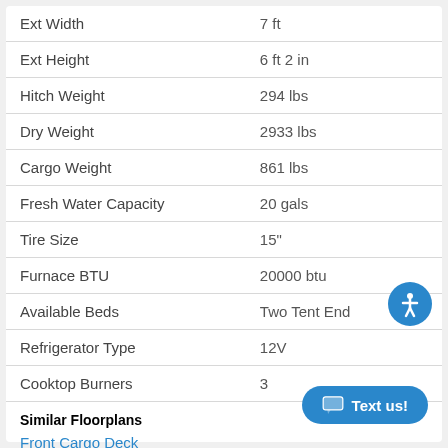| Spec | Value |
| --- | --- |
| Ext Width | 7 ft |
| Ext Height | 6 ft 2 in |
| Hitch Weight | 294 lbs |
| Dry Weight | 2933 lbs |
| Cargo Weight | 861 lbs |
| Fresh Water Capacity | 20 gals |
| Tire Size | 15" |
| Furnace BTU | 20000 btu |
| Available Beds | Two Tent End |
| Refrigerator Type | 12V |
| Cooktop Burners | 3 |
Similar Floorplans
Front Cargo Deck